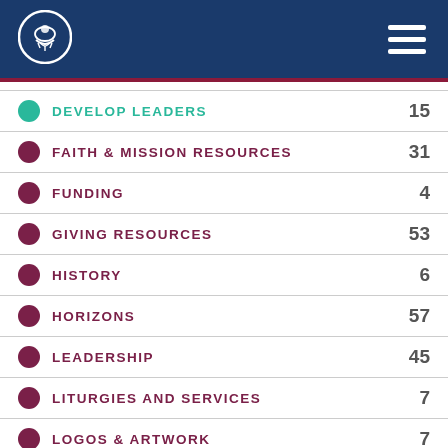[Figure (logo): Organization logo in white circle on blue header bar]
DEVELOP LEADERS 15
FAITH & MISSION RESOURCES 31
FUNDING 4
GIVING RESOURCES 53
HISTORY 6
HORIZONS 57
LEADERSHIP 45
LITURGIES AND SERVICES 7
LOGOS & ARTWORK 7
MAGAZINE 8
NEWS 6